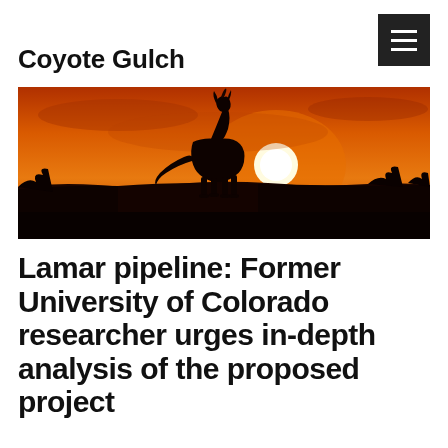Coyote Gulch
[Figure (photo): Silhouette of a coyote howling against a vivid orange sunset sky, standing on a landscape with water reflection in background.]
Lamar pipeline: Former University of Colorado researcher urges in-depth analysis of the proposed project